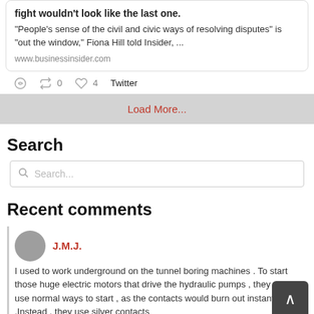fight wouldn't look like the last one.
"People's sense of the civil and civic ways of resolving disputes" is "out the window," Fiona Hill told Insider, ...
www.businessinsider.com
0  4  Twitter
Load More...
Search
Search...
Recent comments
J.M.J.
I used to work underground on the tunnel boring machines . To start those huge electric motors that drive the hydraulic pumps , they cannot use normal ways to start , as the contacts would burn out instantly .Instead , they use silver contacts